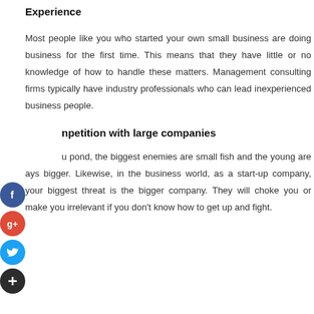Experience
Most people like you who started your own small business are doing business for the first time. This means that they have little or no knowledge of how to handle these matters. Management consulting firms typically have industry professionals who can lead inexperienced business people.
Competition with large companies
In a pond, the biggest enemies are small fish and the young are always bigger. Likewise, in the business world, as a start-up company, your biggest threat is the bigger company. They will choke you or make you irrelevant if you don't know how to get up and fight.